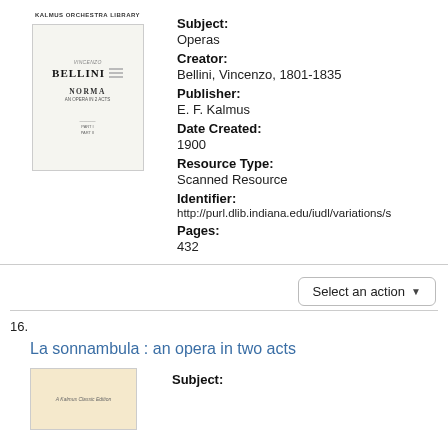[Figure (illustration): Book cover thumbnail for Bellini Norma opera score, Kalmus Orchestra Library]
Subject:
Operas
Creator:
Bellini, Vincenzo, 1801-1835
Publisher:
E. F. Kalmus
Date Created:
1900
Resource Type:
Scanned Resource
Identifier:
http://purl.dlib.indiana.edu/iudl/variations/s
Pages:
432
Select an action
16.
La sonnambula : an opera in two acts
[Figure (illustration): Book cover thumbnail for La sonnambula opera score]
Subject: